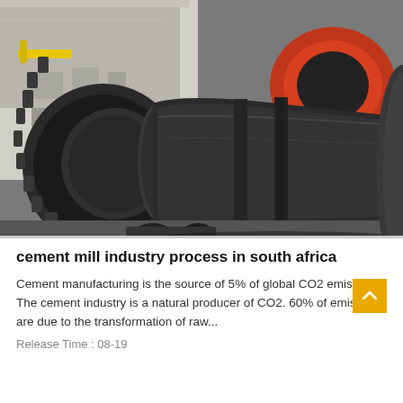[Figure (photo): Large industrial rotary cement mill drum/cylinder in a factory setting. The cylindrical steel drum is dark gray/black with a gear ring visible on the left. An orange component is visible in the background. The drum sits on wheeled supports inside what appears to be a manufacturing facility.]
cement mill industry process in south africa
Cement manufacturing is the source of 5% of global CO2 emissions. The cement industry is a natural producer of CO2. 60% of emissions are due to the transformation of raw...
Release Time : 08-19